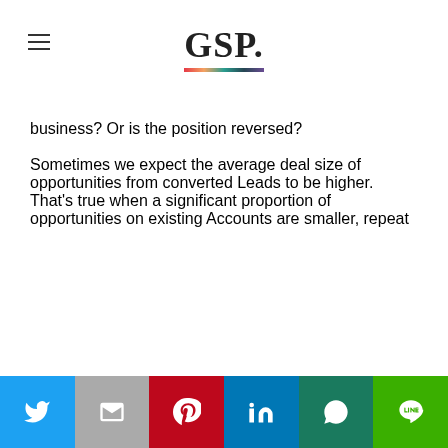GSP.
business? Or is the position reversed?

Sometimes we expect the average deal size of opportunities from converted Leads to be higher. That's true when a significant proportion of opportunities on existing Accounts are smaller, repeat
Social share bar: Twitter, Email, Pinterest, LinkedIn, WhatsApp, Line